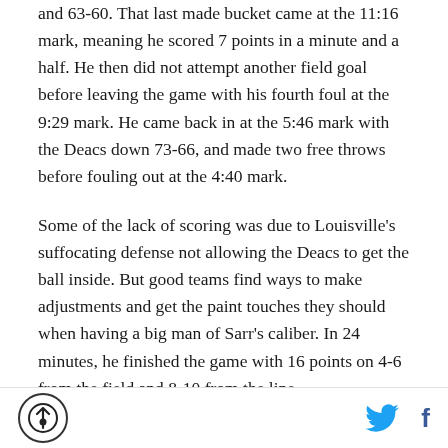and 63-60. That last made bucket came at the 11:16 mark, meaning he scored 7 points in a minute and a half. He then did not attempt another field goal before leaving the game with his fourth foul at the 9:29 mark. He came back in at the 5:46 mark with the Deacs down 73-66, and made two free throws before fouling out at the 4:40 mark.
Some of the lack of scoring was due to Louisville's suffocating defense not allowing the Deacs to get the ball inside. But good teams find ways to make adjustments and get the paint touches they should when having a big man of Sarr's caliber. In 24 minutes, he finished the game with 16 points on 4-6 from the field and 8-10 from the line.
Logo | Twitter | Facebook